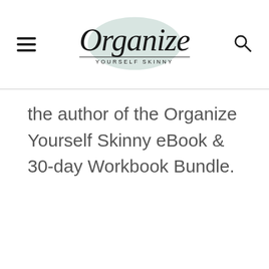Organize Yourself Skinny
the author of the Organize Yourself Skinny eBook & 30-day Workbook Bundle.